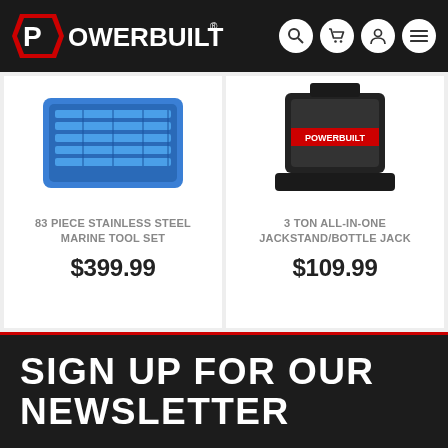POWERBUILT
[Figure (screenshot): 83 Piece Stainless Steel Marine Tool Set product image - blue tool tray with tools]
83 PIECE STAINLESS STEEL MARINE TOOL SET
$399.99
[Figure (screenshot): 3 Ton All-In-One Jackstand/Bottle Jack product image - black jack stand]
3 TON ALL-IN-ONE JACKSTAND/BOTTLE JACK
$109.99
SIGN UP FOR OUR NEWSLETTER